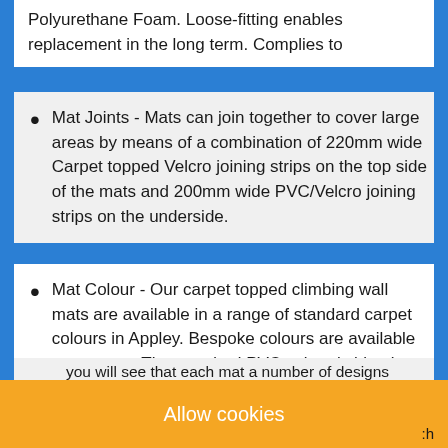Polyurethane Foam. Loose-fitting enables replacement in the long term. Complies to
Mat Joints - Mats can join together to cover large areas by means of a combination of 220mm wide Carpet topped Velcro joining strips on the top side of the mats and 200mm wide PVC/Velcro joining strips on the underside.
Mat Colour - Our carpet topped climbing wall mats are available in a range of standard carpet colours in Appley. Bespoke colours are available on request. The standard PVC colour is blue but is also available in other colours on request. For more details regarding the various designs
Allow cookies
you will see that each mat a number of designs